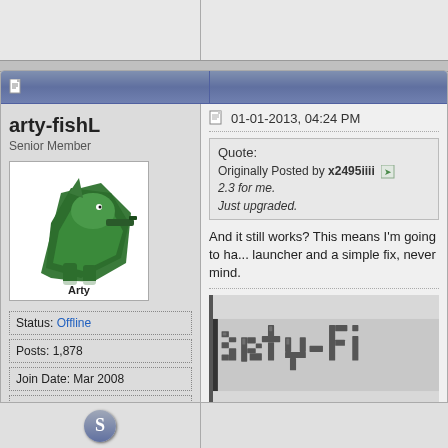arty-fishL
Senior Member
[Figure (illustration): Pixel art avatar of a green shooter character labeled 'Arty' on white background]
Status: Offline
Posts: 1,878
Join Date: Mar 2008
Location: In the corner of your eye
01-01-2013, 04:24 PM
Quote:
Originally Posted by x2495iiii
2.3 for me.
Just upgraded.
And it still works? This means I'm going to ha... launcher and a simple fix, never mind.
[Figure (screenshot): Pixelated signature image showing 'arty-fi...' text in large block pixel font, dark letters on gray background with black left border]
I have mostly moved on from Alice, but may sti...